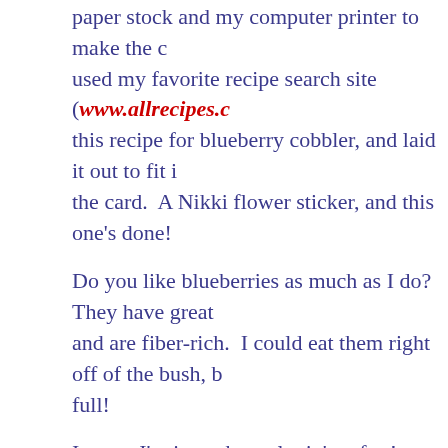paper stock and my computer printer to make the card. I used my favorite recipe search site (www.allrecipes.com) this recipe for blueberry cobbler, and laid it out to fit in the card. A Nikki flower sticker, and this one's done!
Do you like blueberries as much as I do? They have great and are fiber-rich. I could eat them right off of the bush, but full!
I guess I'm just a berry lovin' crafter!
By Ellen Jarvis at August 15, 2011
1 comment:
Susan L said...
I am making Strawberry breakfast pastry puffs tomorrow morning. Com great idea and as a lover of recipes it gets two thumbs up :)
Happy Scrappn'